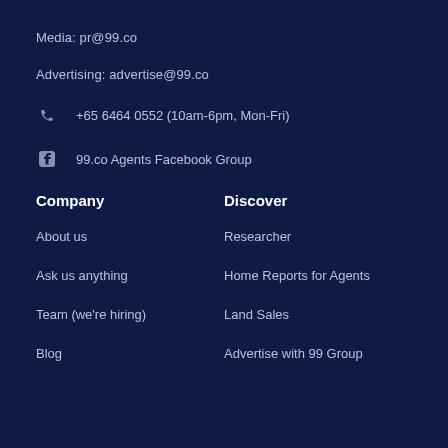Media: pr@99.co
Advertising: advertise@99.co
+65 6464 0552 (10am-6pm, Mon-Fri)
99.co Agents Facebook Group
Company
Discover
About us
Researcher
Ask us anything
Home Reports for Agents
Team (we're hiring)
Land Sales
Blog
Advertise with 99 Group